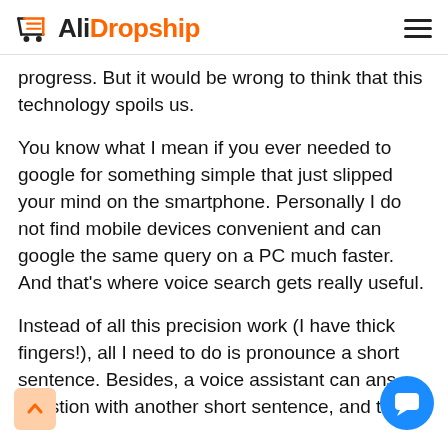AliDropship
progress. But it would be wrong to think that this technology spoils us.
You know what I mean if you ever needed to google for something simple that just slipped your mind on the smartphone. Personally I do not find mobile devices convenient and can google the same query on a PC much faster. And that’s where voice search gets really useful.
Instead of all this precision work (I have thick fingers!), all I need to do is pronounce a short sentence. Besides, a voice assistant can ans… question with another short sentence, and tha…